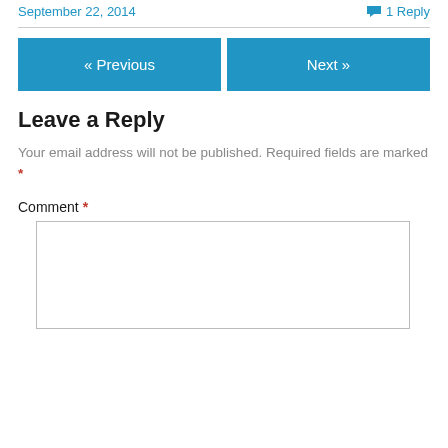September 22, 2014
1 Reply
« Previous
Next »
Leave a Reply
Your email address will not be published. Required fields are marked *
Comment *